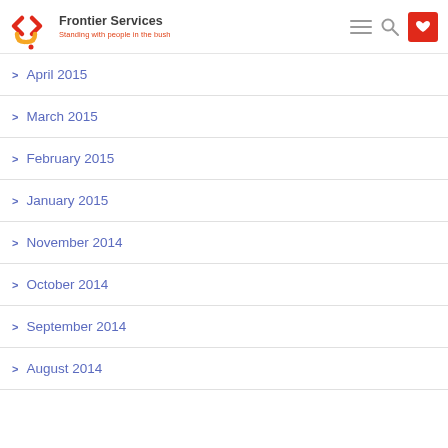Frontier Services — Standing with people in the bush
April 2015
March 2015
February 2015
January 2015
November 2014
October 2014
September 2014
August 2014